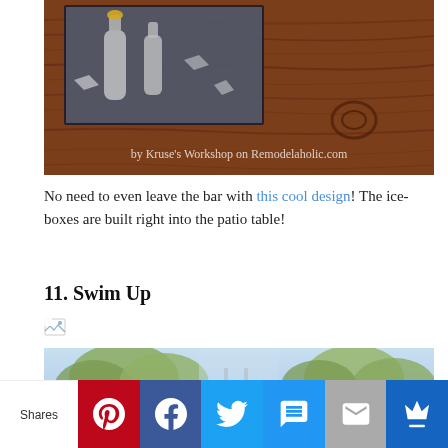[Figure (photo): Close-up photo of a wooden patio table with built-in icebox containing bottles and ice, with watermark text 'by Kruse's Workshop on Remodelaholic.com']
No need to even leave the bar with this cool design! The iceboxes are built right into the patio table!
11. Swim Up
[Figure (photo): Broken image placeholder icon]
[Figure (photo): Partial photo showing outdoor pool area with trees in background]
Shares | Pinterest | Facebook | Twitter | SMS | Email | Crown